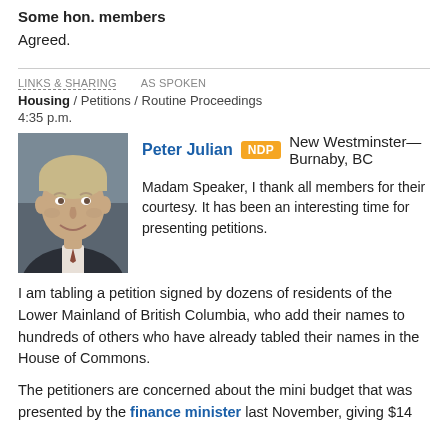Some hon. members
Agreed.
LINKS & SHARING   AS SPOKEN
Housing / Petitions / Routine Proceedings
4:35 p.m.
[Figure (photo): Headshot photo of Peter Julian, a middle-aged man with blond-grey hair, wearing a dark suit, smiling, against a grey background.]
Peter Julian NDP New Westminster—Burnaby, BC

Madam Speaker, I thank all members for their courtesy. It has been an interesting time for presenting petitions.
I am tabling a petition signed by dozens of residents of the Lower Mainland of British Columbia, who add their names to hundreds of others who have already tabled their names in the House of Commons.
The petitioners are concerned about the mini budget that was presented by the finance minister last November, giving $14